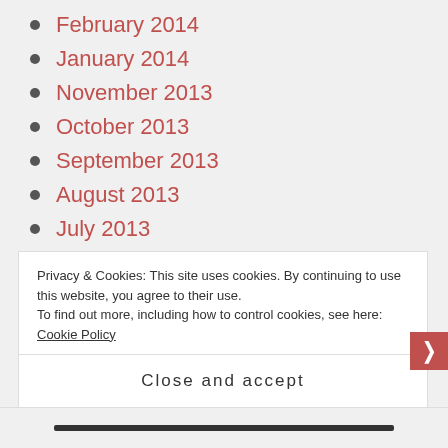February 2014
January 2014
November 2013
October 2013
September 2013
August 2013
July 2013
May 2013
April 2013
March 2013
February 2013
January 2013
Privacy & Cookies: This site uses cookies. By continuing to use this website, you agree to their use. To find out more, including how to control cookies, see here: Cookie Policy
Close and accept